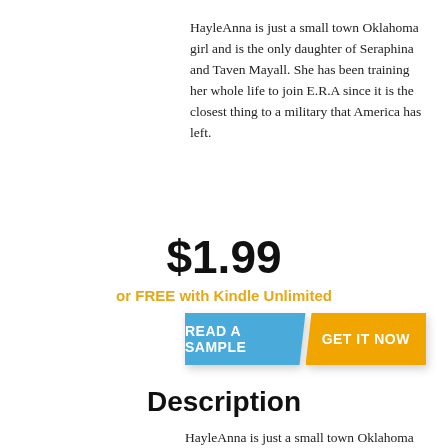HayleAnna is just a small town Oklahoma girl and is the only daughter of Seraphina and Taven Mayall. She has been training her whole life to join E.R.A since it is the closest thing to a military that America has left.
$1.99
or FREE with Kindle Unlimited
[Figure (other): Two call-to-action buttons side by side: a blue 'READ A SAMPLE' button and an orange 'GET IT NOW' button]
Description
HayleAnna is just a small town Oklahoma girl and is the only